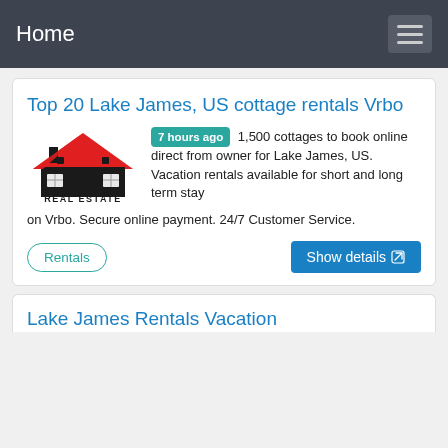Home
Top 20 Lake James, US cottage rentals Vrbo
[Figure (logo): Real Estate logo with red house icon and text REAL ESTATE]
7 hours ago  1,500 cottages to book online direct from owner for Lake James, US. Vacation rentals available for short and long term stay on Vrbo. Secure online payment. 24/7 Customer Service.
Rentals
Show details
Lake James Rentals Vacation